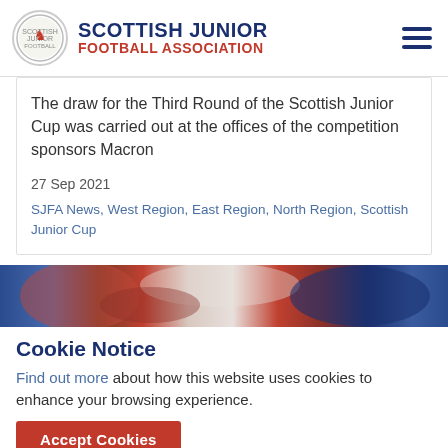SCOTTISH JUNIOR FOOTBALL ASSOCIATION
The draw for the Third Round of the Scottish Junior Cup was carried out at the offices of the competition sponsors Macron
27 Sep 2021
SJFA News, West Region, East Region, North Region, Scottish Junior Cup
[Figure (photo): Colourful blurred image strip showing red and blue football colours]
Cookie Notice
Find out more about how this website uses cookies to enhance your browsing experience.
Accept Cookies